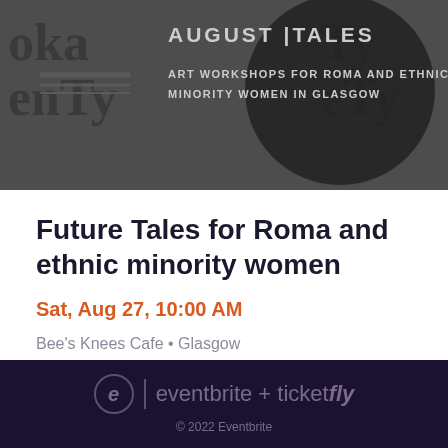[Figure (photo): Dark banner image with Cyrillic/abstract letter patterns in background. Text overlay reads 'AUGUST | TALES' and 'ART WORKSHOPS FOR ROMA AND ETHNIC MINORITY WOMEN IN GLASGOW']
Future Tales for Roma and ethnic minority women
Sat, Aug 27, 10:00 AM
Bee's Knees Cafe • Glasgow
Free
eventbrite + ticketfly
© 2022 Eventbrite